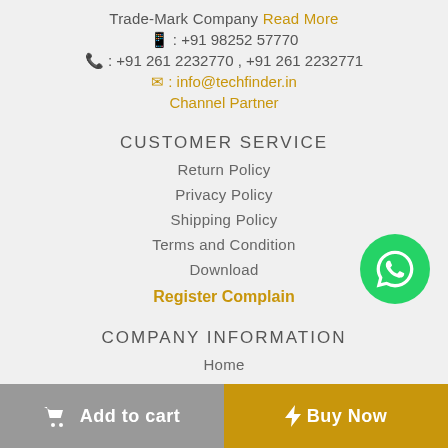Trade-Mark Company Read More
📱 : +91 98252 57770
📞 : +91 261 2232770 , +91 261 2232771
✉ : info@techfinder.in
Channel Partner
CUSTOMER SERVICE
Return Policy
Privacy Policy
Shipping Policy
Terms and Condition
Download
Register Complain
COMPANY INFORMATION
Home
Add to cart
Buy Now